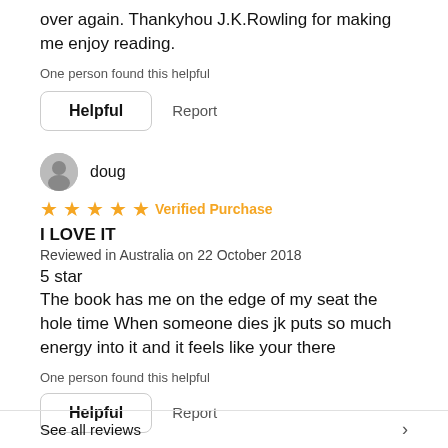over again. Thankyhou J.K.Rowling for making me enjoy reading.
One person found this helpful
[Figure (other): Helpful button and Report link]
[Figure (other): Reviewer avatar icon for user doug]
doug
[Figure (other): 5 orange stars rating with Verified Purchase label]
I LOVE IT
Reviewed in Australia on 22 October 2018
5 star
The book has me on the edge of my seat the hole time When someone dies jk puts so much energy into it and it feels like your there
One person found this helpful
[Figure (other): Helpful button and Report link]
See all reviews